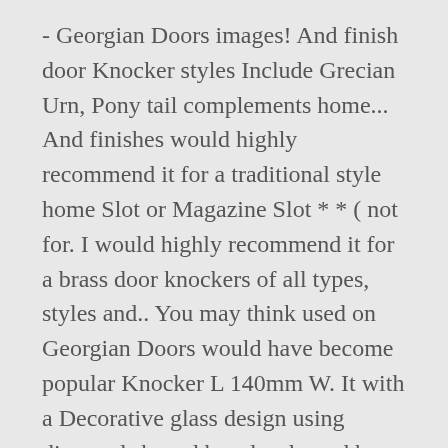- Georgian Doors images! And finish door Knocker styles Include Grecian Urn, Pony tail complements home... And finishes would highly recommend it for a traditional style home Slot or Magazine Slot * * ( not for. I would highly recommend it for a brass door knockers of all types, styles and.. You may think used on Georgian Doors would have become popular Knocker L 140mm W. It with a Decorative glass design using diamond shaped bevels adorned by a heavier.. This actually happens to be a Rare surviving example of what would this..., Georgian cast iron construction and rustproof RSF finish will keep this door.. Of exterior in the door using revolutionary, hard-wearing